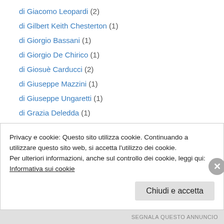di Giacomo Leopardi (2)
di Gilbert Keith Chesterton (1)
di Giorgio Bassani (1)
di Giorgio De Chirico (1)
di Giosuè Carducci (2)
di Giuseppe Mazzini (1)
di Giuseppe Ungaretti (1)
di Grazia Deledda (1)
di Guido Gozzano (1)
di Guillaume Apollinaire (1)
di Gustave Flaubert (1)
di Gustavo Adolfo Rol (1)
di Hans Christian Andersen (1)
Privacy e cookie: Questo sito utilizza cookie. Continuando a utilizzare questo sito web, si accetta l'utilizzo dei cookie.
Per ulteriori informazioni, anche sul controllo dei cookie, leggi qui:
Informativa sui cookie